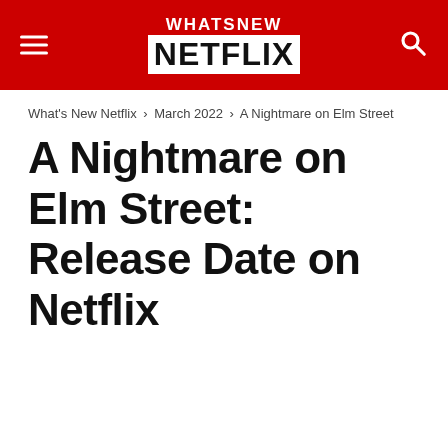What's New Netflix
What's New Netflix › March 2022 › A Nightmare on Elm Street
A Nightmare on Elm Street: Release Date on Netflix